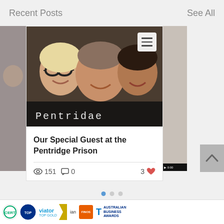Recent Posts
See All
[Figure (photo): Three people smiling in a selfie-style photo with 'Pentridge' text visible on a shirt or sign in the foreground. A hamburger menu icon is overlaid in the top-right corner.]
Our Special Guest at the Pentridge Prison
151  0  3
[Figure (other): Pagination dots: one blue active dot and two grey dots]
[Figure (other): Bottom advertisement bar showing TripAdvisor, Viator Top Gold, and Australian Business Awards logos]